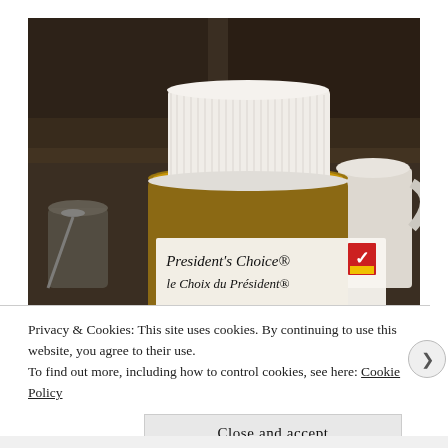[Figure (photo): A jar of President's Choice / le Choix du Président with a white ribbed lid, photographed close-up on a kitchen counter with cups and kitchen items in the background.]
Privacy & Cookies: This site uses cookies. By continuing to use this website, you agree to their use.
To find out more, including how to control cookies, see here: Cookie Policy
Close and accept